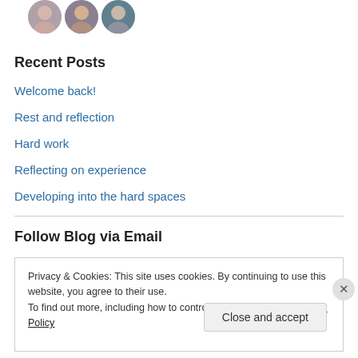[Figure (photo): Three small circular avatar photos of people]
Recent Posts
Welcome back!
Rest and reflection
Hard work
Reflecting on experience
Developing into the hard spaces
Follow Blog via Email
Privacy & Cookies: This site uses cookies. By continuing to use this website, you agree to their use.
To find out more, including how to control cookies, see here: Cookie Policy
Close and accept